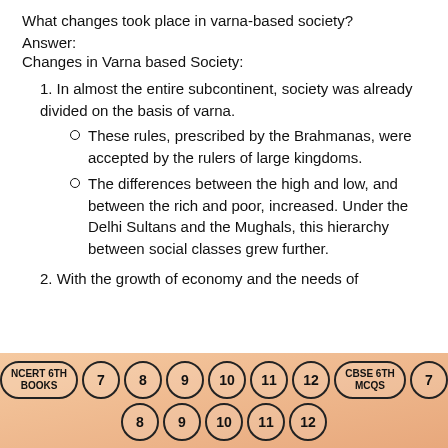What changes took place in varna-based society?
Answer:
Changes in Varna based Society:
1. In almost the entire subcontinent, society was already divided on the basis of varna.
  • These rules, prescribed by the Brahmanas, were accepted by the rulers of large kingdoms.
  • The differences between the high and low, and between the rich and poor, increased. Under the Delhi Sultans and the Mughals, this hierarchy between social classes grew further.
2. With the growth of economy and the needs of
NCERT 6TH BOOKS  7  8  9  10  11  12  CBSE 6TH MCQS  7  8  9  10  11  12